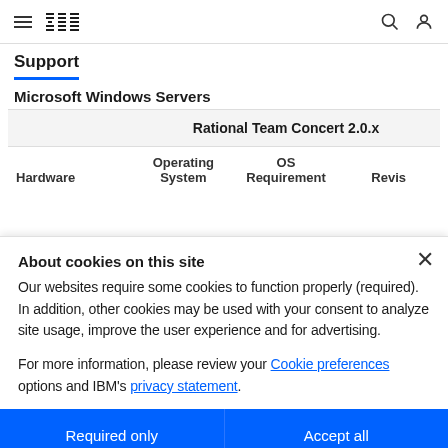IBM navigation bar with hamburger menu, IBM logo, search icon, user icon
Support
Microsoft Windows Servers
| Hardware | Operating System | OS Requirement | Revis... |
| --- | --- | --- | --- |
|  |  | Rational Team Concert 2.0.x |  |
About cookies on this site
Our websites require some cookies to function properly (required). In addition, other cookies may be used with your consent to analyze site usage, improve the user experience and for advertising.

For more information, please review your Cookie preferences options and IBM's privacy statement.
Required only
Accept all